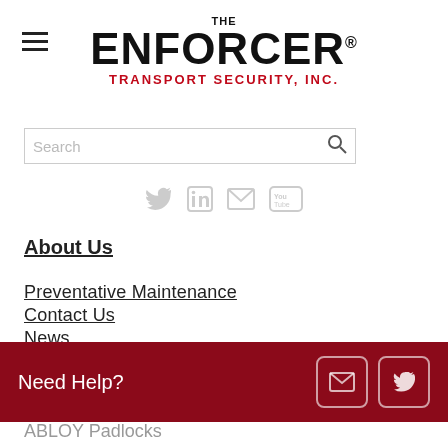[Figure (logo): THE ENFORCER TRANSPORT SECURITY, INC. logo with hamburger menu icon on left]
[Figure (screenshot): Search bar with placeholder text 'Search' and magnifying glass icon]
[Figure (infographic): Social media icons: Twitter, LinkedIn, Email, YouTube]
About Us
Preventative Maintenance
Contact Us
News
[Figure (infographic): Dark red 'Need Help?' bar with email and Twitter icon buttons]
ABLOY Padlocks